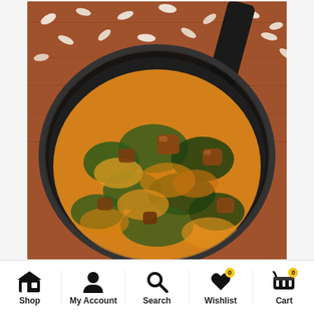[Figure (photo): A black frying pan containing a cooked dish of egusi (ground melon seeds) with dark leafy greens and chunks of meat, on a wooden surface scattered with dried melon seeds. The pan handle is visible at the top right.]
Shop  My Account  Search  Wishlist  Cart